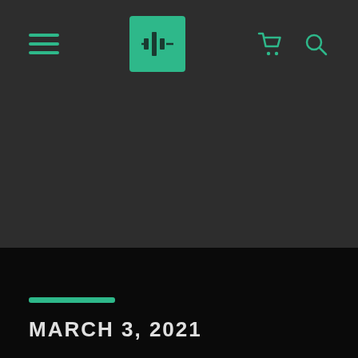[Figure (screenshot): Dark website header/navigation bar with hamburger menu icon on the left (teal), a teal square logo in the center, and teal cart and search icons on the right. Below is a large dark gray content area.]
MARCH 3, 2021